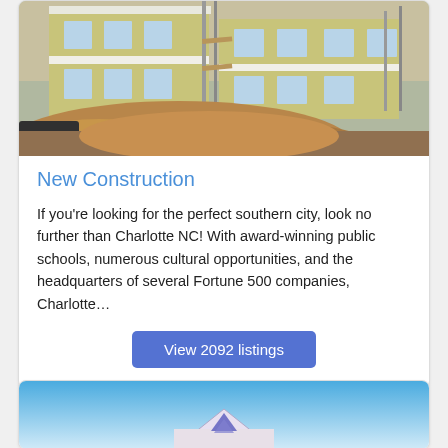[Figure (photo): Construction site photo showing a multi-story building under construction with yellow/tan siding, wood scaffolding, white trim, windows, and a large mound of dirt/excavation in the foreground]
New Construction
If you're looking for the perfect southern city, look no further than Charlotte NC! With award-winning public schools, numerous cultural opportunities, and the headquarters of several Fortune 500 companies, Charlotte…
View 2092 listings
[Figure (photo): Partial view of a house with blue sky background, showing roofline with a purple/blue logo or emblem]